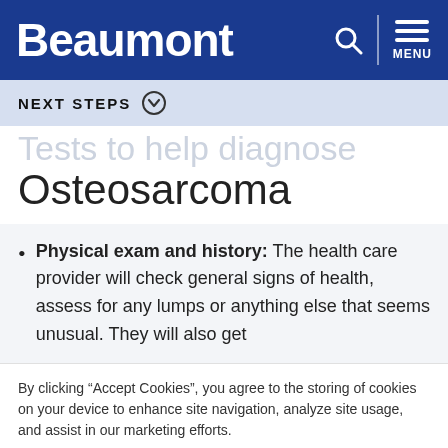Beaumont
NEXT STEPS
Tests to help diagnose Osteosarcoma
Physical exam and history: The health care provider will check general signs of health, assess for any lumps or anything else that seems unusual. They will also get
By clicking “Accept Cookies”, you agree to the storing of cookies on your device to enhance site navigation, analyze site usage, and assist in our marketing efforts.
Settings | Accept